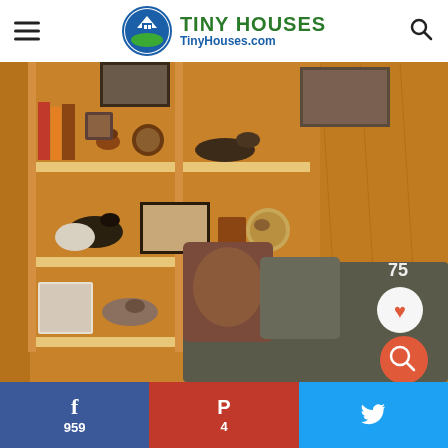TINY HOUSES TinyHouses.com
[Figure (photo): Interior of a tiny house showing a cozy reading nook with wooden pine walls, a built-in bookshelf filled with books, bird decoys, framed artwork and decorative items, and a cushioned bench seat with decorative pillows (paisley and solid gray).]
f 959 | P 4 | Twitter share